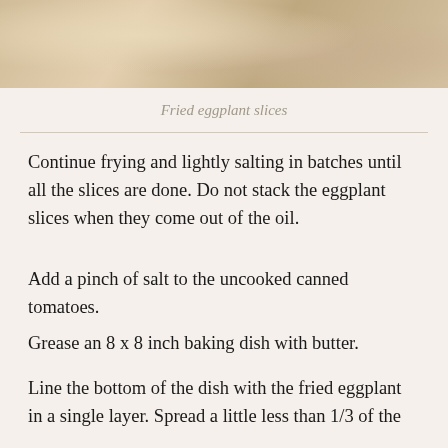[Figure (photo): Close-up photo of fried eggplant slices with golden-brown color and textured surface]
Fried eggplant slices
Continue frying and lightly salting in batches until all the slices are done. Do not stack the eggplant slices when they come out of the oil.
Add a pinch of salt to the uncooked canned tomatoes.
Grease an 8 x 8 inch baking dish with butter.
Line the bottom of the dish with the fried eggplant in a single layer. Spread a little less than 1/3 of the